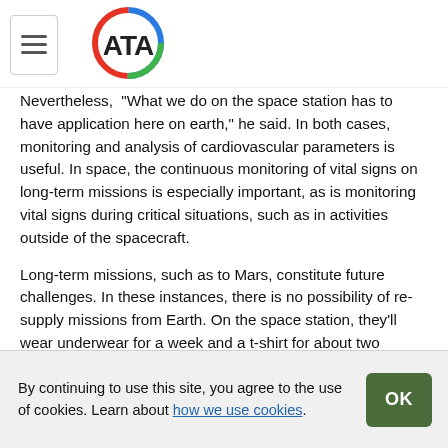ATA logo and navigation menu
Nevertheless, "What we do on the space station has to have application here on earth," he said. In both cases, monitoring and analysis of cardiovascular parameters is useful. In space, the continuous monitoring of vital signs on long-term missions is especially important, as is monitoring vital signs during critical situations, such as in activities outside of the spacecraft.
Long-term missions, such as to Mars, constitute future challenges. In these instances, there is no possibility of re-supply missions from Earth. On the space station, they'll wear underwear for a week and a t-shirt for about two weeks, he says. “That’s life on the Space Station.”
On longer missions, astronauts will need special IVA
By continuing to use this site, you agree to the use of cookies. Learn about how we use cookies.